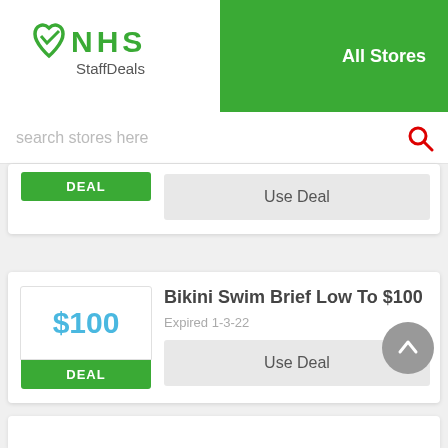[Figure (logo): NHS StaffDeals logo with green heart and checkmark icon, beside green header with 'All Stores' text]
search stores here
Use Deal
Bikini Swim Brief Low To $100
Expired 1-3-22
Use Deal